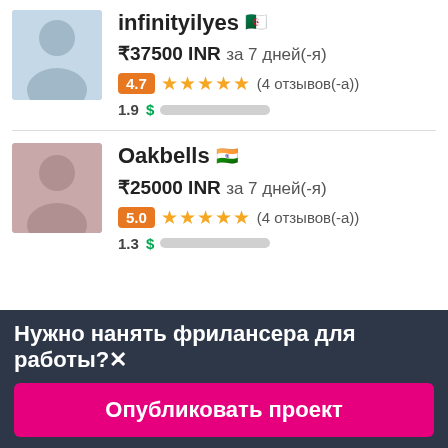infinityilyes [Algeria flag]
₹37500 INR за 7 дней(-я)
4.7 ★★★★★ (4 отзывов(-а))
1.9 $ [progress bar]
Oakbells [India flag]
₹25000 INR за 7 дней(-я)
5.0 ★★★★★ (4 отзывов(-а))
1.3 $ [progress bar]
Нужно нанять фрилансера для работы?✕
Опубликовать проект